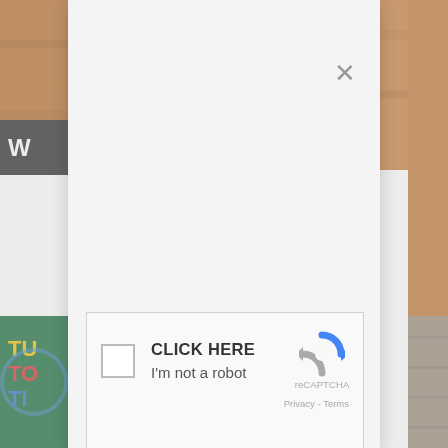[Figure (screenshot): Background webpage content partially visible: food/brownie image at top, dark header band with letter W, partially visible article text on left side with underlined links, orange strip on right side, colorful images at bottom. A reCAPTCHA modal dialog overlays the center of the page.]
[Figure (screenshot): reCAPTCHA modal dialog with close X button at top right, labeled 'CLICK HERE' and 'I'm not a robot' with a checkbox, Google reCAPTCHA logo, and 'Privacy - Terms' footer link.]